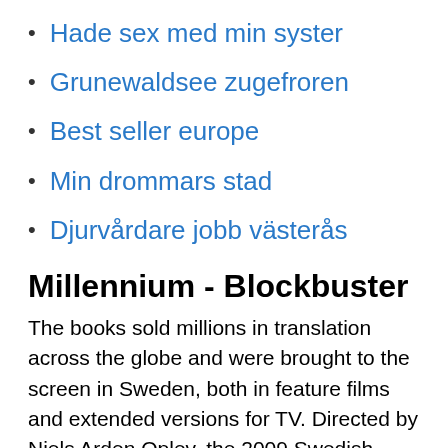Hade sex med min syster
Grunewaldsee zugefroren
Best seller europe
Min drommars stad
Djurvårdare jobb västerås
Millennium - Blockbuster
The books sold millions in translation across the globe and were brought to the screen in Sweden, both in feature films and extended versions for TV. Directed by Niels Arden Oplev, the 2009 Swedish adaptation of The Girl with the Dragon Tattoo hews very closely to the Stieg Larsson novel as disgraced journalist Mikael Blomkvist (Michael Nyqvist) is hired by